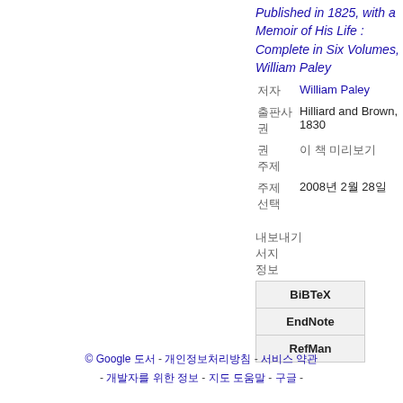Published in 1825, with a Memoir of His Life : Complete in Six Volumes, William Paley
William Paley
Hilliard and Brown, 1830
이 책 미리보기
2008년 2월 28일
BiBTeX
EndNote
RefMan
© Google 도서 - 개인정보처리방침 -  서비스 약관 - 개발자를 위한 정보 - 지도 도움말 - 구글